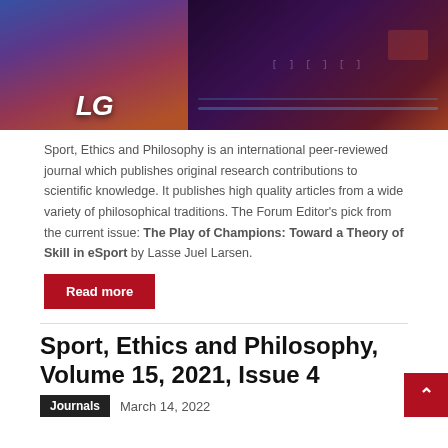[Figure (photo): Photo of esports players at gaming stations, with colorful jerseys and keyboard setups in a gaming arena with purple lighting]
Sport, Ethics and Philosophy is an international peer-reviewed journal which publishes original research contributions to scientific knowledge. It publishes high quality articles from a wide variety of philosophical traditions. The Forum Editor’s pick from the current issue: The Play of Champions: Toward a Theory of Skill in eSport by Lasse Juel Larsen.
Read more
Sport, Ethics and Philosophy, Volume 15, 2021, Issue 4
Journals   March 14, 2022